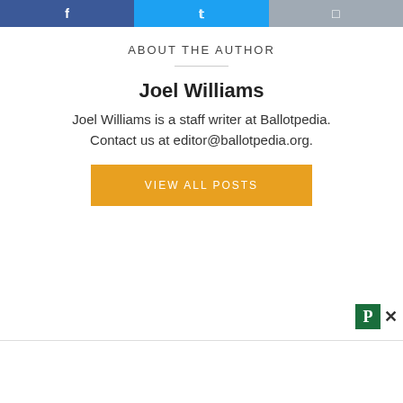[Figure (other): Social sharing buttons row: Facebook (blue), Twitter (light blue), Instagram (gray)]
ABOUT THE AUTHOR
Joel Williams
Joel Williams is a staff writer at Ballotpedia. Contact us at editor@ballotpedia.org.
[Figure (other): Orange button labeled VIEW ALL POSTS]
[Figure (other): Small Pubpeer-style popup with green P icon and X close button]